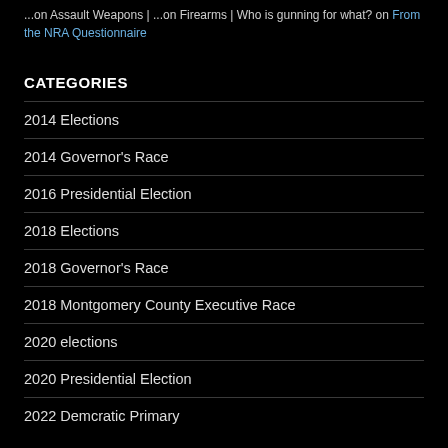...on Assault Weapons | ...on Firearms | Who is gunning for what? on From the NRA Questionnaire
CATEGORIES
2014 Elections
2014 Governor's Race
2016 Presidential Election
2018 Elections
2018 Governor's Race
2018 Montgomery County Executive Race
2020 elections
2020 Presidential Election
2022 Demcratic Primary